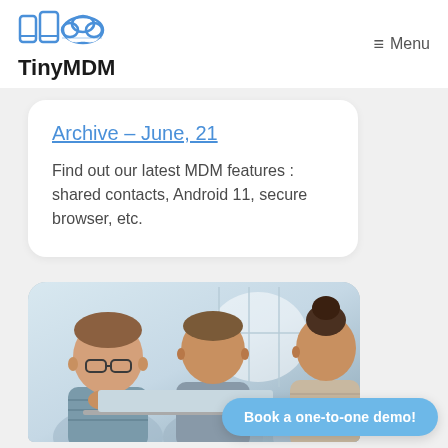TinyMDM | Menu
Archive – June, 21
Find out our latest MDM features : shared contacts, Android 11, secure browser, etc.
[Figure (photo): Three people (two men and a woman) looking at a laptop screen together in an office setting]
Book a one-to-one demo!